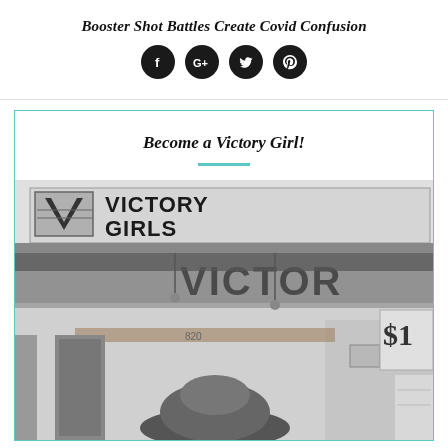Booster Shot Battles Create Covid Confusion
[Figure (infographic): Social media share icons: Facebook (f), Google+ (G+), Twitter (bird), Pinterest (P) — all dark circular buttons]
Become a Victory Girl!
[Figure (photo): Black and white photograph of a Victory Girls storefront/booth with large signage reading 'VICTORY GIRLS' and 'VICTOR' visible, with a person partially visible at the bottom wearing a hat, and a '$1' sign on the right side.]